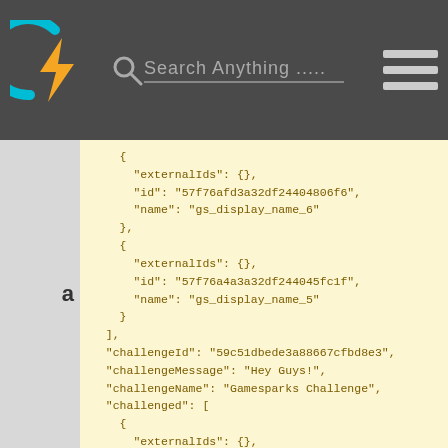[Figure (screenshot): Website header bar with lightning bolt logo, search bar with 'Search Anything .....' placeholder text, and hamburger menu icon on dark gray background]
a
{
    "externalIds": {},
    "id": "57f76afd3a32df24404806f6",
    "name": "gs_display_name_6"
  },
  {
    "externalIds": {},
    "id": "57f76a4a3a32df244045fc1f",
    "name": "gs_display_name_5"
  }
],
"challengeId": "59c51dbede3a88667cfbd8e3",
"challengeMessage": "Hey Guys!",
"challengeName": "Gamesparks Challenge",
"challenged": [
  {
    "externalIds": {},
    "id": "57f76a4a3a32df244045fc1f",
    "name": "gs_display_name_5"
  },
  {
    "externalIds": {},
    "id": "57f76afd3a32df24404806f6",
    "name": "gs_display_name_6"
  }
],